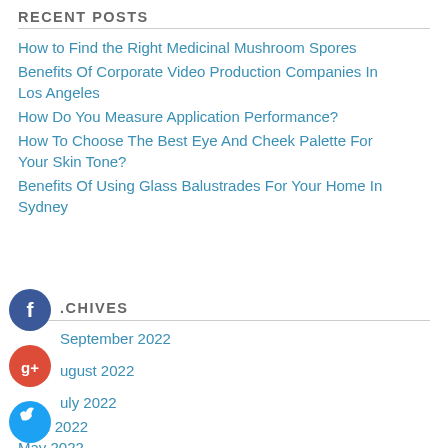RECENT POSTS
How to Find the Right Medicinal Mushroom Spores
Benefits Of Corporate Video Production Companies In Los Angeles
How Do You Measure Application Performance?
How To Choose The Best Eye And Cheek Palette For Your Skin Tone?
Benefits Of Using Glass Balustrades For Your Home In Sydney
[Figure (infographic): Social media share buttons: Facebook (blue circle), Google+ (red circle), Twitter (blue circle), Add/Plus (dark circle)]
ARCHIVES
September 2022
August 2022
July 2022
June 2022
May 2022